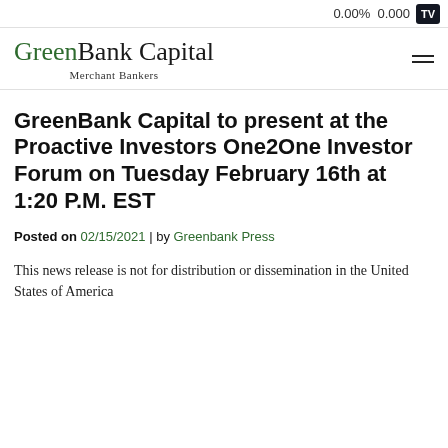0.00% 0.000
[Figure (logo): GreenBank Capital Merchant Bankers logo with green and black serif text]
GreenBank Capital to present at the Proactive Investors One2One Investor Forum on Tuesday February 16th at 1:20 P.M. EST
Posted on 02/15/2021 | by Greenbank Press
This news release is not for distribution or dissemination in the United States of America